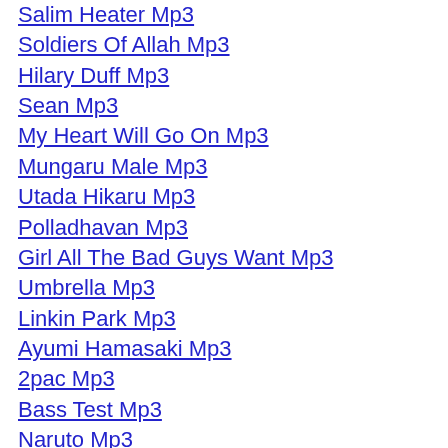Salim Heater Mp3
Soldiers Of Allah Mp3
Hilary Duff Mp3
Sean Mp3
My Heart Will Go On Mp3
Mungaru Male Mp3
Utada Hikaru Mp3
Polladhavan Mp3
Girl All The Bad Guys Want Mp3
Umbrella Mp3
Linkin Park Mp3
Ayumi Hamasaki Mp3
2pac Mp3
Bass Test Mp3
Naruto Mp3
Akon Mp3
Bad Boys Mp3
Jai Dev Jai Dev Mp3
Lagu Raya Mp3
Ungu Mp3
Soldiers Of Allah Mp3
Madai Thiranthu Mp3
Sean Kingston Mp3
Akon Mp3
Linkin Park Mp3
50 Cent Mp3